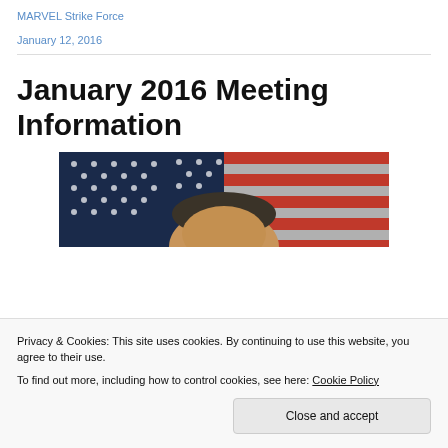MARVEL Strike Force
January 12, 2016
January 2016 Meeting Information
[Figure (photo): Photo of Barack Obama speaking in front of an American flag]
Privacy & Cookies: This site uses cookies. By continuing to use this website, you agree to their use.
To find out more, including how to control cookies, see here: Cookie Policy
Close and accept